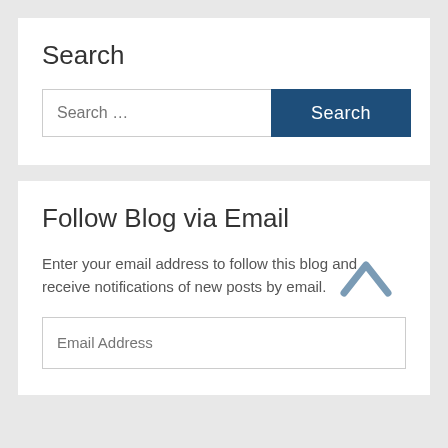Search
Search ...
Follow Blog via Email
Enter your email address to follow this blog and receive notifications of new posts by email.
Email Address